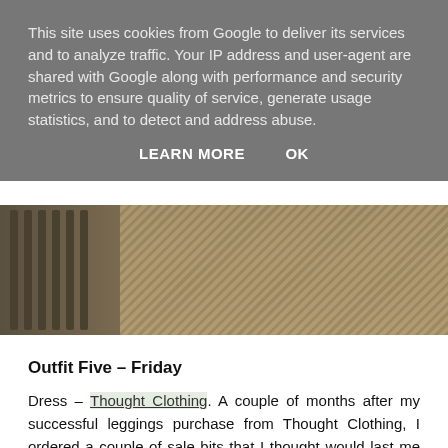This site uses cookies from Google to deliver its services and to analyze traffic. Your IP address and user-agent are shared with Google along with performance and security metrics to ensure quality of service, generate usage statistics, and to detect and address abuse.
LEARN MORE   OK
[Figure (photo): A photo showing wooden furniture (spindles or balusters) on the left side and a wooden deck or floor with diagonal planks on the right side, with brownish-tan tones.]
Outfit Five – Friday
Dress – Thought Clothing. A couple of months after my successful leggings purchase from Thought Clothing, I ordered a couple of sale bits that I thought would last me well through pregnancy. The first was this organic cotton maxi dress because it's floaty, oversized and will be great during the summer months.